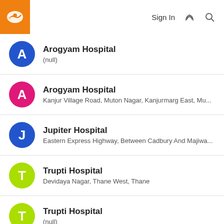Sign In
Arogyam Hospital
(null)
Arogyam Hospital
Kanjur Village Road, Muton Nagar, Kanjurmarg East, Mu...
Jupiter Hospital
Eastern Express Highway, Between Cadbury And Majiwa...
Trupti Hospital
Devidaya Nagar, Thane West, Thane
Trupti Hospital
(null)